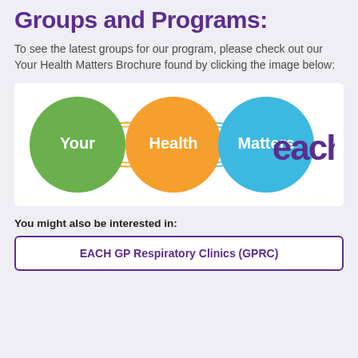Groups and Programs:
To see the latest groups for our program, please check out our Your Health Matters Brochure found by clicking the image below:
[Figure (logo): Your Health Matters EACH logo: three overlapping circles (green with 'Your', orange with 'Health', blue with 'Matters') connected by arching lines, followed by the word 'each' in purple.]
You might also be interested in:
EACH GP Respiratory Clinics (GPRC)